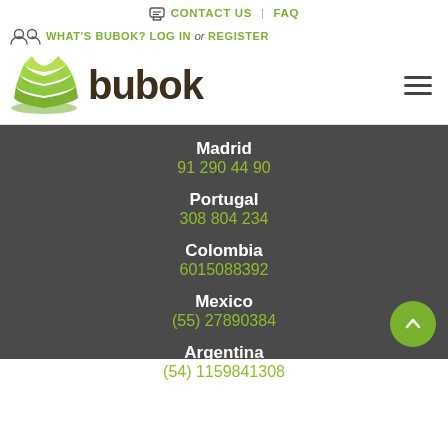CONTACT US | FAQ
WHAT'S BUBOK? LOG IN or REGISTER
[Figure (logo): Bubok logo — green stacked pages icon with 'bubok' text in dark brown]
Madrid
91 290 44 90
Portugal
308 804 234
Colombia
6015088392
Mexico
(55) 27890384
Argentina
(54) 1159841308